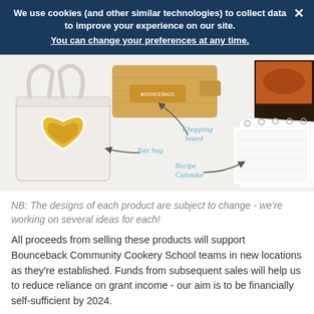We use cookies (and other similar technologies) to collect data to improve your experience on our site.
You can change your preferences at any time.
[Figure (photo): Product photo showing a white tote bag with a yellow heart logo, a wooden chopping board with a brand logo, and a recipe calendar. Handwritten-style labels with arrows identify each item: 'Chopping board', 'Tote bag', 'Recipe Calendar'.]
NB: The designs of each product are subject to change - we're working on several ideas for each!
All proceeds from selling these products will support Bounceback Community Cookery School teams in new locations as they're established. Funds from subsequent sales will help us to reduce reliance on grant income - our aim is to be financially self-sufficient by 2024.